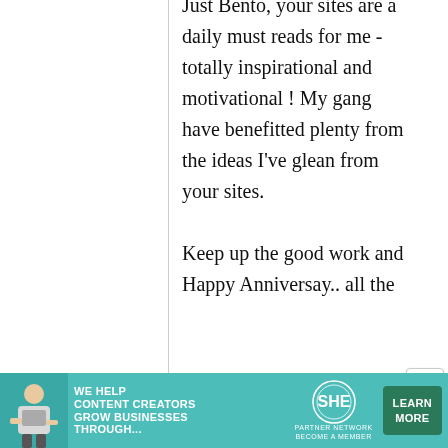Just Bento, your sites are a daily must reads for me - totally inspirational and motivational ! My gang have benefitted plenty from the ideas I've glean from your sites.

Keep up the good work and Happy Anniversay.. all the
[Figure (infographic): Advertisement banner: teal background with woman at laptop, text 'We help content creators grow businesses through...', SHE Partner Network logo, and a 'Learn More / Become a Member' green button.]